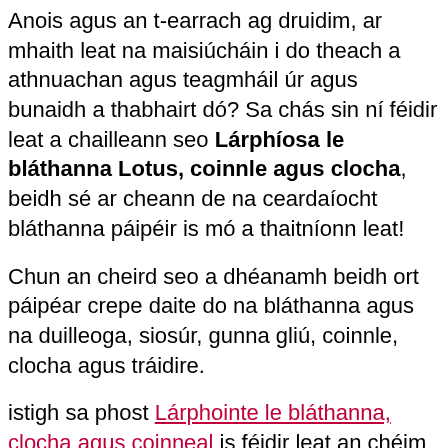Anois agus an t-earrach ag druidim, ar mhaith leat na maisiúcháin i do theach a athnuachan agus teagmháil úr agus bunaidh a thabhairt dó? Sa chás sin ní féidir leat a chailleann seo Lárphíosa le bláthanna Lotus, coinnle agus clocha, beidh sé ar cheann de na ceardaíocht bláthanna páipéir is mó a thaitníonn leat!
Chun an cheird seo a dhéanamh beidh ort páipéar crepe daite do na bláthanna agus na duilleoga, siosúr, gunna gliú, coinnle, clocha agus tráidire.
istigh sa phost Lárphointe le bláthanna, clocha agus coinneal is féidir leat an chéim chun é a dhéanamh a fheiceáil.
Bláth cartán ubh